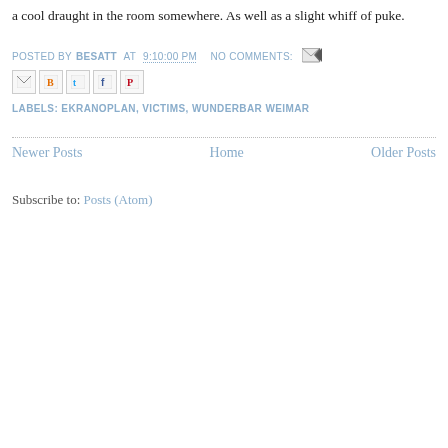a cool draught in the room somewhere. As well as a slight whiff of puke.
POSTED BY BESATT AT 9:10:00 PM   NO COMMENTS:
[Figure (other): Social share icons: email, blogger, twitter, facebook, pinterest]
LABELS: EKRANOPLAN, VICTIMS, WUNDERBAR WEIMAR
Newer Posts   Home   Older Posts
Subscribe to: Posts (Atom)